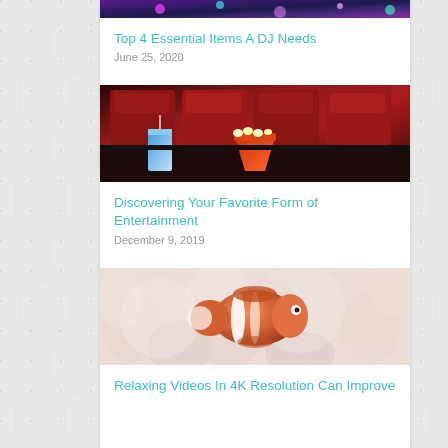[Figure (photo): Partial view of a DJ/music themed image with colorful lights, cut off at top of page]
Top 4 Essential Items A DJ Needs
June 25, 2020
[Figure (photo): Red cinema/movie theater seats with a drink cup and popcorn bucket in the foreground]
Discovering Your Favorite Form of Entertainment
December 9, 2019
[Figure (photo): Close-up of an orange and white clownfish among white sea anemone tentacles]
Relaxing Videos In 4K Resolution Can Improve